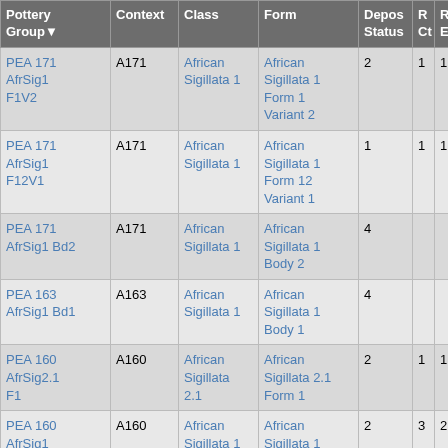| Pottery Group▼ | Context | Class | Form | Depos Status | R Ct | R EV |
| --- | --- | --- | --- | --- | --- | --- |
| PEA 171 AfrSig1 F1V2 | A171 | African Sigillata 1 | African Sigillata 1 Form 1 Variant 2 | 2 | 1 | 1 |
| PEA 171 AfrSig1 F12V1 | A171 | African Sigillata 1 | African Sigillata 1 Form 12 Variant 1 | 1 | 1 | 1 |
| PEA 171 AfrSig1 Bd2 | A171 | African Sigillata 1 | African Sigillata 1 Body 2 | 4 |  |  |
| PEA 163 AfrSig1 Bd1 | A163 | African Sigillata 1 | African Sigillata 1 Body 1 | 4 |  |  |
| PEA 160 AfrSig2.1 F1 | A160 | African Sigillata 2.1 | African Sigillata 2.1 Form 1 | 2 | 1 | 1 |
| PEA 160 AfrSig1 F12V1 | A160 | African Sigillata 1 | African Sigillata 1 Form 12 Variant 1 | 2 | 3 | 2 |